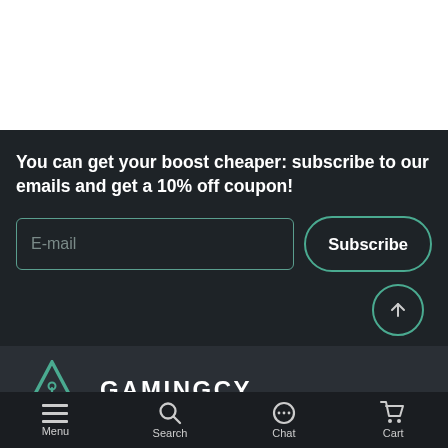[Figure (screenshot): White blank area at top of page]
You can get your boost cheaper: subscribe to our emails and get a 10% off coupon!
[Figure (other): Email input field with placeholder 'E-mail' and a 'Subscribe' button]
[Figure (other): Scroll-up circle button with upward arrow]
[Figure (logo): GamingCy logo - triangle icon with biohazard symbol and text GAMINGCY, subtitle CARRY SERVICES IN ONLINE GAMES]
Menu  Search  Chat  Cart